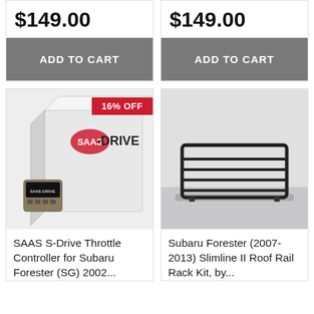$149.00
ADD TO CART
$149.00
ADD TO CART
[Figure (photo): SAAS S-Drive throttle controller product box with device shown in front, labeled SAAS-DRIVE. A red badge reads 16% OFF.]
SAAS S-Drive Throttle Controller for Subaru Forester (SG) 2002...
[Figure (photo): Black metal roof rack / slimline roof rail rack kit mounted on a white vehicle roof, viewed from the side.]
Subaru Forester (2007-2013) Slimline II Roof Rail Rack Kit, by...